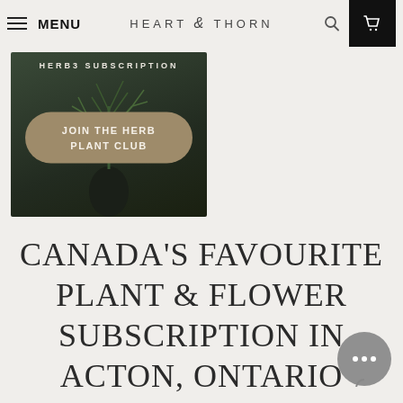MENU  HEART & THORN
[Figure (photo): Dark moody photo of an herb plant in a pot with overlay text 'HERBS SUBSCRIPTION' and a rounded button reading 'JOIN THE HERB PLANT CLUB' in tan/gold color]
CANADA'S FAVOURITE PLANT & FLOWER SUBSCRIPTION IN ACTON, ONTARIO
An unerring passion and commitment to offering the best in fresh flo...